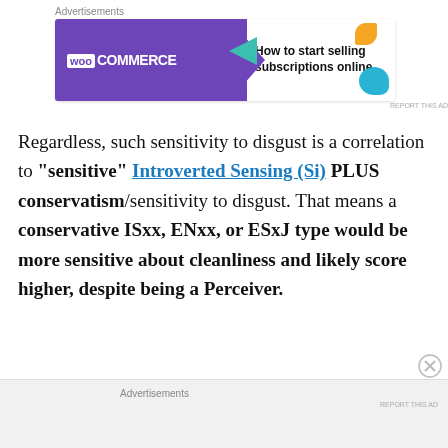[Figure (other): WooCommerce advertisement banner: purple background with WooCommerce logo on left, white panel on right with text 'How to start selling subscriptions online', decorative colored shapes (teal, orange, blue) on right side]
Regardless, such sensitivity to disgust is a correlation to "sensitive" Introverted Sensing (Si) PLUS conservatism/sensitivity to disgust. That means a conservative ISxx, ENxx, or ESxJ type would be more sensitive about cleanliness and likely score higher, despite being a Perceiver.
Advertisements